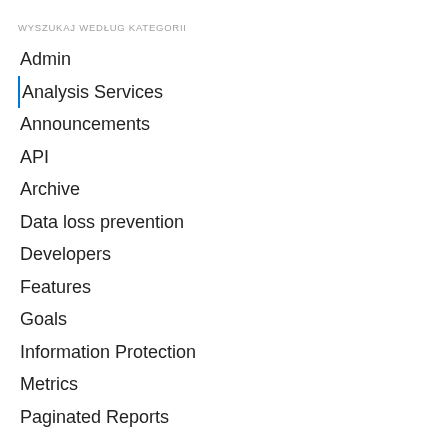WYSZUKAJ WEDŁUG KATEGORII
Admin
Analysis Services
Announcements
API
Archive
Data loss prevention
Developers
Features
Goals
Information Protection
Metrics
Paginated Reports